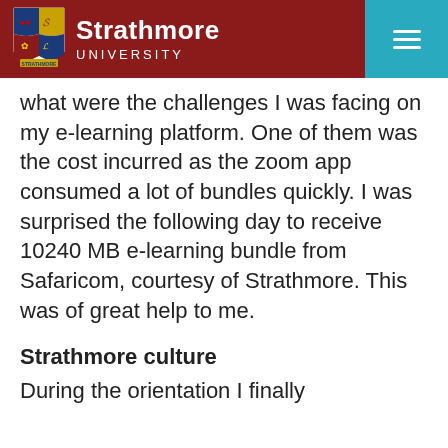[Figure (logo): Strathmore University header with shield logo, dark red background on left with university name and teal menu button on right]
what were the challenges I was facing on my e-learning platform. One of them was  the cost incurred as the zoom app consumed a lot of bundles quickly. I was surprised the following day to receive 10240 MB e-learning bundle from Safaricom, courtesy of Strathmore. This was of great help to me.
Strathmore culture
During the orientation I finally